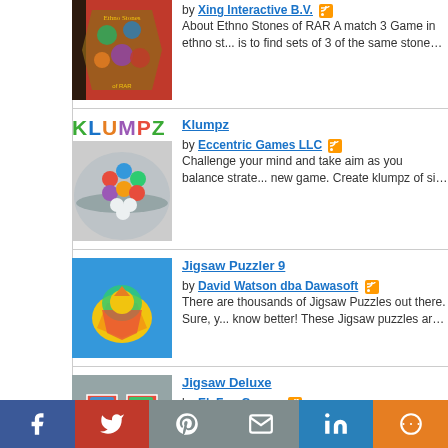Ethno Stones of RAR — by Xing Interactive B.V. — About Ethno Stones of RAR A match 3 Game in ethno st... is to find sets of 3 of the same stones. This can be horizon...
Klumpz — by Eccentric Games LLC — Challenge your mind and take aim as you balance strate... new game. Create klumpz of six balls to make them explo...
Jigsaw Puzzler 9 — by David Watson dba Dawasoft — There are thousands of Jigsaw Puzzles out there. Sure, y... know better! These Jigsaw puzzles are something to be pr...
Jigsaw Deluxe — by EleFun Games — Jigsaw Deluxe is a new game by EleFun Games company...
[Figure (other): Social sharing bar with Facebook, Twitter, Pinterest, Email, LinkedIn, More buttons]